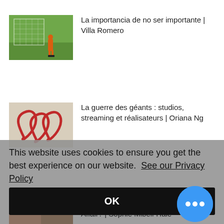[Figure (photo): Thumbnail of a football/soccer player near a goal net on a green pitch, player wearing orange.]
La importancia de no ser importante | Villa Romero
[Figure (photo): Abstract thumbnail with red cursive/swirl shapes on a light background.]
La guerre des géants : studios, streaming et réalisateurs | Oriana Ng
This website uses cookies to ensure you get the best experience on our website. See our Privacy Policy
OK
[Figure (photo): Partially visible thumbnail at the bottom of the page.]
Affair? | Sophie Mibell-Hale